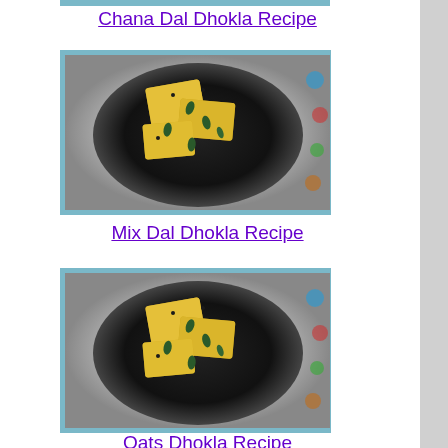Chana Dal Dhokla Recipe
[Figure (photo): Photo of Mix Dal Dhokla served on a black plate with herbs]
Mix Dal Dhokla Recipe
[Figure (photo): Photo of Oats Dhokla served on a black plate with herbs]
Oats Dhokla Recipe